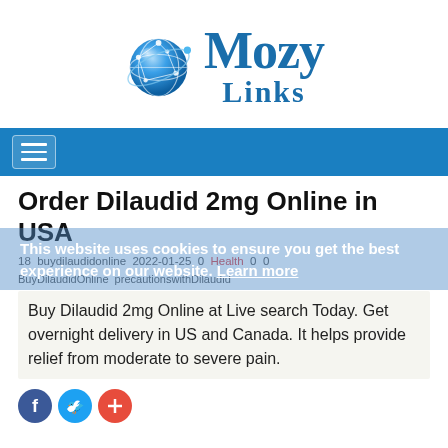[Figure (logo): MozyLinks logo with blue globe icon and serif text 'Mozy Links']
Order Dilaudid 2mg Online in USA
18 buydilaudidonline 2022-01-25 0 Health 0 0
BuyDilaudidOnline precautionswithDilaudid
Buy Dilaudid 2mg Online at Live search Today. Get overnight delivery in US and Canada. It helps provide relief from moderate to severe pain.
[Figure (infographic): Social share icons: Facebook (blue circle), Twitter (blue circle), Plus/share (red circle)]